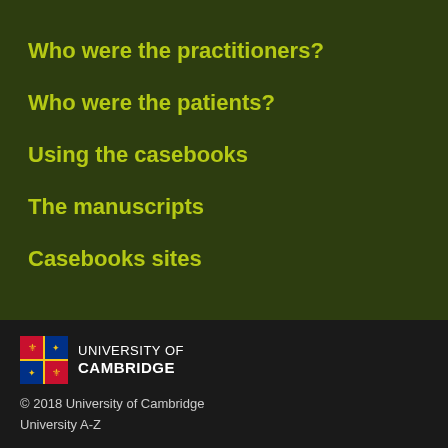Who were the practitioners?
Who were the patients?
Using the casebooks
The manuscripts
Casebooks sites
[Figure (logo): University of Cambridge shield logo with text UNIVERSITY OF CAMBRIDGE]
© 2018 University of Cambridge
University A-Z